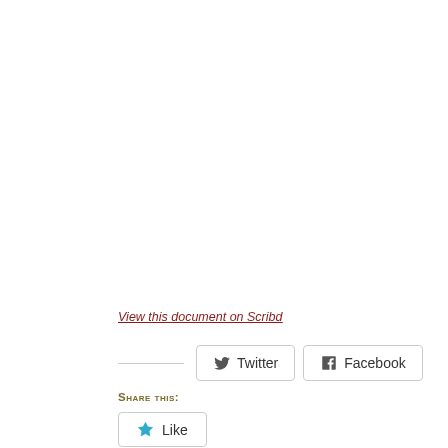View this document on Scribd
Share this:
Twitter
Facebook
Like
Be the first to like this.